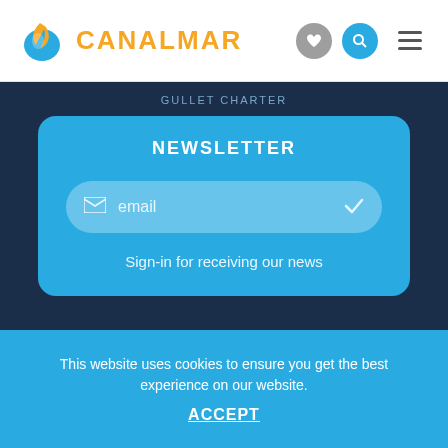[Figure (logo): Canalmar logo with blue wave icon and orange text]
GULLET CHARTER
NEWSLETTER
email
Sign-in for receiving our news
This website uses cookies to ensure you get the best experience on our website.
ACCEPT